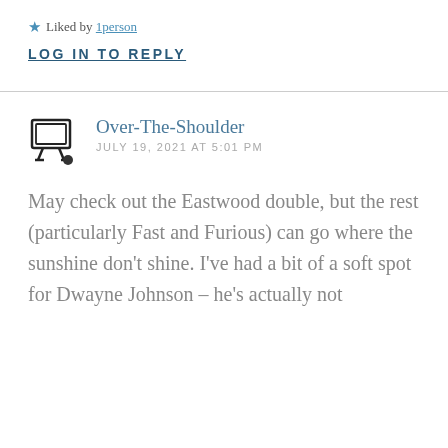★ Liked by 1person
LOG IN TO REPLY
Over-The-Shoulder
JULY 19, 2021 AT 5:01 PM
May check out the Eastwood double, but the rest (particularly Fast and Furious) can go where the sunshine don't shine. I've had a bit of a soft spot for Dwayne Johnson – he's actually not